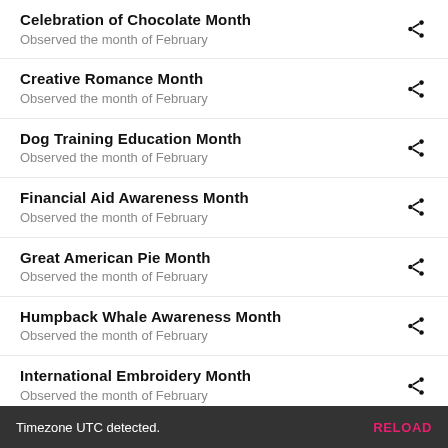Celebration of Chocolate Month
Observed the month of February
Creative Romance Month
Observed the month of February
Dog Training Education Month
Observed the month of February
Financial Aid Awareness Month
Observed the month of February
Great American Pie Month
Observed the month of February
Humpback Whale Awareness Month
Observed the month of February
International Embroidery Month
Observed the month of February
Library Lovers Month
Timezone UTC detected.  RELOAD